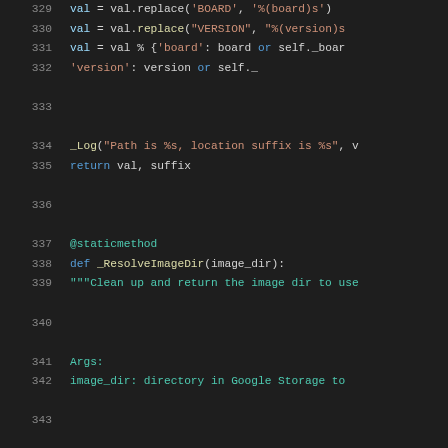[Figure (screenshot): Python source code snippet showing lines 329-350, featuring method definitions with syntax highlighting on dark background. Lines include val.replace calls, @staticmethod decorator, _ResolveImageDir function definition, docstring with Args/Returns sections, and return statements.]